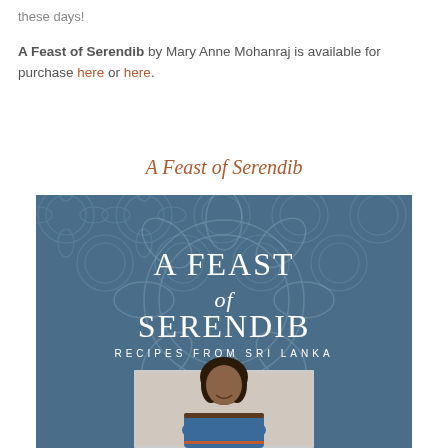these days!
A Feast of Serendib by Mary Anne Mohanraj is available for purchase here or here.
A Feast of Serendib
[Figure (photo): Book cover of 'A Feast of Serendib: Recipes from Sri Lanka' showing a woman in a blue sari smiling, on a blue decorative background with floral patterns.]